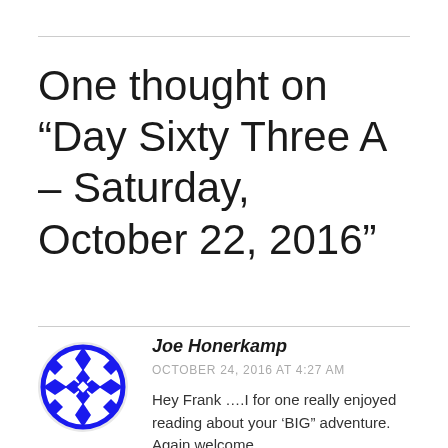One thought on “Day Sixty Three A – Saturday, October 22, 2016”
Joe Honerkamp
OCTOBER 24, 2016 AT 4:27 AM
Hey Frank ….I for one really enjoyed reading about your ‘BIG” adventure. Again welcome